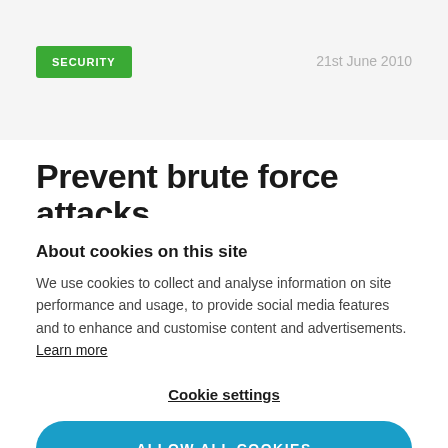SECURITY
21st June 2010
Prevent brute force attacks
About cookies on this site
We use cookies to collect and analyse information on site performance and usage, to provide social media features and to enhance and customise content and advertisements. Learn more
Cookie settings
ALLOW ALL COOKIES